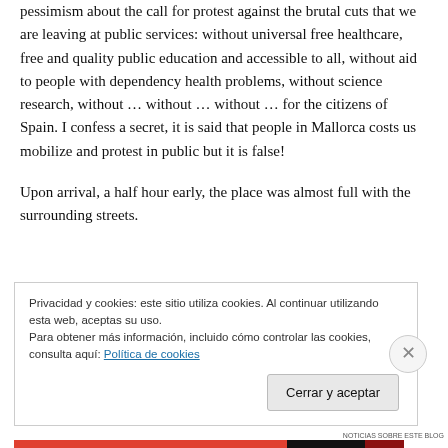pessimism about the call for protest against the brutal cuts that we are leaving at public services:  without universal free healthcare, free and quality public education and accessible to all, without aid to people with dependency health problems, without science research, without … without … without … for the citizens of Spain. I confess a secret, it is said that people in Mallorca costs us mobilize and protest in public but it is false!
Upon arrival, a half hour early, the place was almost full with the surrounding streets.
Privacidad y cookies: este sitio utiliza cookies. Al continuar utilizando esta web, aceptas su uso.
Para obtener más información, incluido cómo controlar las cookies, consulta aquí: Política de cookies
[Button: Cerrar y aceptar]